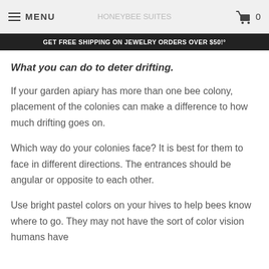MENU | 0
GET FREE SHIPPING ON JEWELRY ORDERS OVER $50!°
What you can do to deter drifting.
If your garden apiary has more than one bee colony, placement of the colonies can make a difference to how much drifting goes on.
Which way do your colonies face? It is best for them to face in different directions. The entrances should be angular or opposite to each other.
Use bright pastel colors on your hives to help bees know where to go. They may not have the sort of color vision humans have